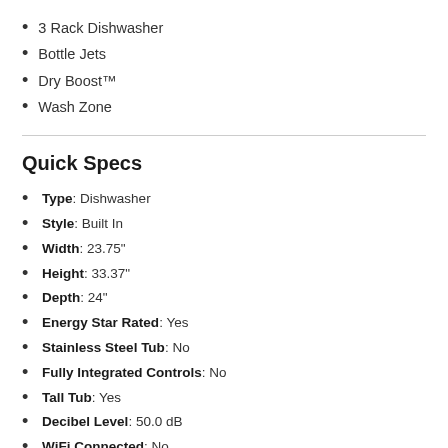3 Rack Dishwasher
Bottle Jets
Dry Boost™
Wash Zone
Quick Specs
Type: Dishwasher
Style: Built In
Width: 23.75"
Height: 33.37"
Depth: 24"
Energy Star Rated: Yes
Stainless Steel Tub: No
Fully Integrated Controls: No
Tall Tub: Yes
Decibel Level: 50.0 dB
WiFi Connected: No
See More
This item has purchase restrictions. We currently only offer this product for purchase